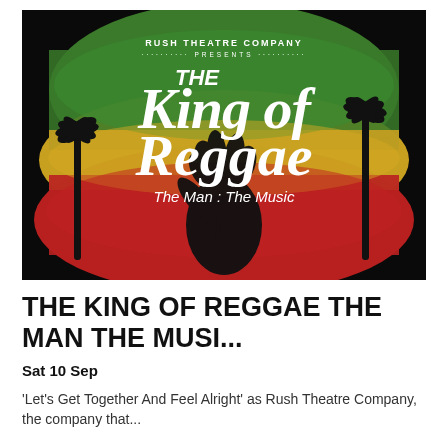[Figure (illustration): Promotional poster for 'The King of Reggae: The Man : The Music' by Rush Theatre Company. Black background with bold white brush-script text. Background colors in Jamaican flag stripes: green, yellow/gold, red. Silhouette of reggae singer with dreadlocks holding microphone, palm tree silhouettes on sides.]
THE KING OF REGGAE THE MAN THE MUSI...
Sat 10 Sep
'Let's Get Together And Feel Alright' as Rush Theatre Company, the company that...